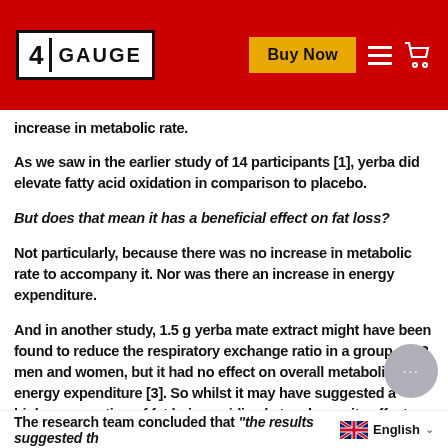4 GAUGE | Buy Now
increase in metabolic rate.
As we saw in the earlier study of 14 participants [1], yerba did elevate fatty acid oxidation in comparison to placebo.
But does that mean it has a beneficial effect on fat loss?
Not particularly, because there was no increase in metabolic rate to accompany it. Nor was there an increase in energy expenditure.
And in another study, 1.5 g yerba mate extract might have been found to reduce the respiratory exchange ratio in a group of 12 men and women, but it had no effect on overall metabolism or energy expenditure [3]. So whilst it may have suggested a higher proportion of fat being oxidized at a glance, its effects were minimal at best.
The research team concluded that "the results suggested th..."